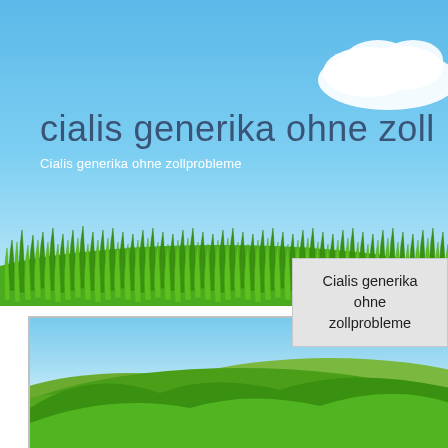[Figure (photo): Hero banner with blue sky, white cloud, and green grass field at bottom. Website header image.]
cialis generika ohne zoll
Cialis generika ohne zollprobleme
Cialis generika ohne zollprobleme
[Figure (photo): Landscape photo of green rolling hills under a blue sky, shown partially in the lower portion of the page.]